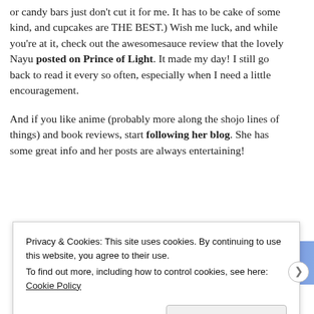or candy bars just don't cut it for me. It has to be cake of some kind, and cupcakes are THE BEST.) Wish me luck, and while you're at it, check out the awesomesauce review that the lovely Nayu posted on Prince of Light. It made my day! I still go back to read it every so often, especially when I need a little encouragement.
And if you like anime (probably more along the shojo lines of things) and book reviews, start following her blog. She has some great info and her posts are always entertaining!
[Figure (screenshot): Advertisements banner — partial view of a blue/purple gradient advertisement image with white text partially visible reading 'Simplified...']
Privacy & Cookies: This site uses cookies. By continuing to use this website, you agree to their use.
To find out more, including how to control cookies, see here: Cookie Policy